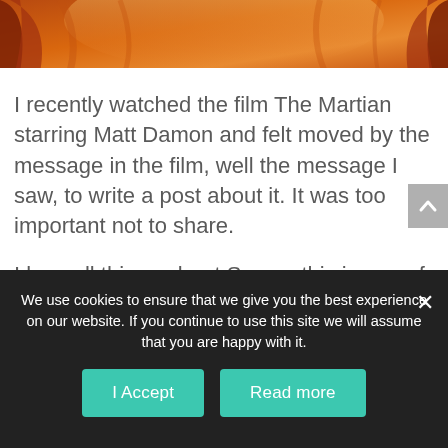[Figure (photo): Photo of orange/red canyon rock formations, partially cropped at top of page]
I recently watched the film The Martian starring Matt Damon and felt moved by the message in the film, well the message I saw, to write a post about it. It was too important not to share.
I love all things about Space, this is one of my favourite film genres so it was enjoyable for me to watch The Martian.
We use cookies to ensure that we give you the best experience on our website. If you continue to use this site we will assume that you are happy with it.
I Accept
Read more